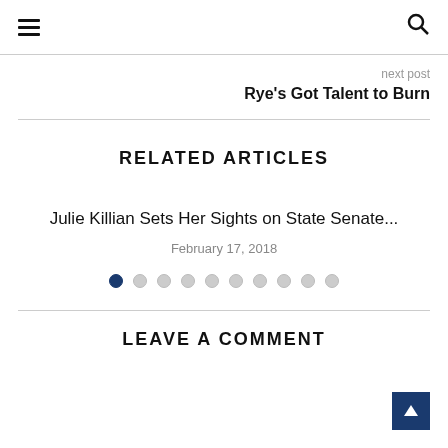Navigation header with hamburger menu and search icon
next post
Rye's Got Talent to Burn
RELATED ARTICLES
Julie Killian Sets Her Sights on State Senate...
February 17, 2018
LEAVE A COMMENT